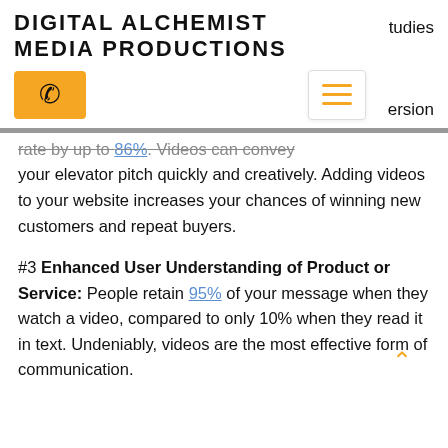DIGITAL ALCHEMIST MEDIA PRODUCTIONS
tudies
[Figure (other): Orange phone button icon and hamburger menu icon with navigation links]
ersion
rate by up to 86%. Videos can convey your elevator pitch quickly and creatively. Adding videos to your website increases your chances of winning new customers and repeat buyers.
#3 Enhanced User Understanding of Product or Service: People retain 95% of your message when they watch a video, compared to only 10% when they read it in text. Undeniably, videos are the most effective form of communication.